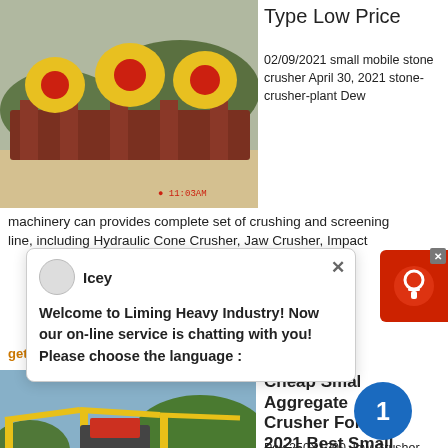[Figure (photo): Industrial stone crushing machinery with yellow equipment on a construction/mining site, timestamp 11:03AM]
Type Low Price
02/09/2021 small mobile stone crusher April 30, 2021 stone-crusher-plant Dew machinery can provides complete set of crushing and screening line, including Hydraulic Cone Crusher, Jaw Crusher, Impact
[Figure (infographic): Live chat popup from Liming Heavy Industry with avatar named Icey and message: Welcome to Liming Heavy Industry! Now our on-line service is chatting with you! Please choose the language :]
get price
[Figure (photo): Yellow mobile aggregate/jaw crusher equipment on an outdoor construction site, timestamp 2010/08/28 15:14]
Cheap Small Aggregate Crusher For Sale 2021 Best Small
Pex 250X1200 Jaw Crusher Price Ballast Classic Mining Ore